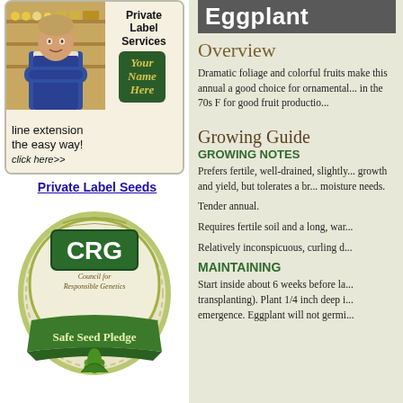[Figure (photo): Advertisement banner for Private Label Seeds service, showing a man in a blue apron in a store, with text 'Private Label Services', 'Your Name Here' in a green box, and 'line extension the easy way! click here>>']
Private Label Seeds
[Figure (logo): CRG Council for Responsible Genetics Safe Seed Pledge badge/logo]
Eggplant
Overview
Dramatic foliage and colorful fruits make this annual a good choice for ornamental... in the 70s F for good fruit productio...
Growing Guide
GROWING NOTES
Prefers fertile, well-drained, slightly... growth and yield, but tolerates a br... moisture needs.
Tender annual.
Requires fertile soil and a long, war...
Relatively inconspicuous, curling d...
MAINTAINING
Start inside about 6 weeks before la... transplanting). Plant 1/4 inch deep i... emergence. Eggplant will not germi...